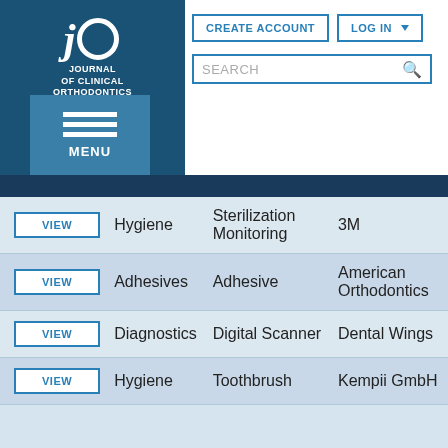[Figure (logo): JCO - Journal of Clinical Orthodontics logo with circular icon]
[Figure (screenshot): CREATE ACCOUNT button]
[Figure (screenshot): LOG IN button with dropdown arrow]
[Figure (screenshot): Search box with magnifier icon]
[Figure (screenshot): MENU button with three horizontal lines]
|  | Category | Type | Brand |
| --- | --- | --- | --- |
| VIEW | Hygiene | Sterilization Monitoring | 3M |
| VIEW | Adhesives | Adhesive | American Orthodontics |
| VIEW | Diagnostics | Digital Scanner | Dental Wings |
| VIEW | Hygiene | Toothbrush | Kempii GmbH |